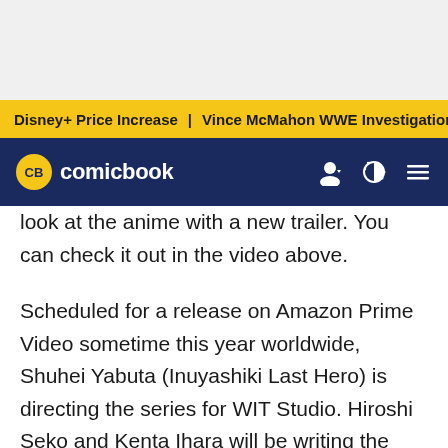Disney+ Price Increase | Vince McMahon WWE Investigation
[Figure (logo): ComicBook.com logo — yellow CB circle badge with site name in white on dark navy navigation bar]
look at the anime with a new trailer. You can check it out in the video above.
Scheduled for a release on Amazon Prime Video sometime this year worldwide, Shuhei Yabuta (Inuyashiki Last Hero) is directing the series for WIT Studio. Hiroshi Seko and Kenta Ihara will be writing the scripts for the series, Takahiko Abiru will be designing the characters for animation, Bamboo will be handling the series' art, MADBOX will be handling the series special effects, Yutaka Yamada is composing the music for the series, Yuuki Kawashita will serve as the director of photography, and Kashiko Kimura